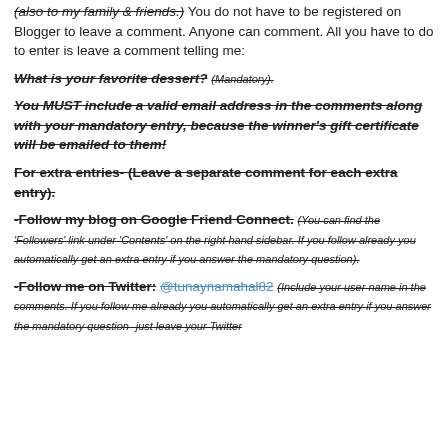(also to my family & friends.) You do not have to be registered on Blogger to leave a comment. Anyone can comment. All you have to do to enter is leave a comment telling me:
What is your favorite dessert? (Mandatory).
You MUST include a valid email address in the comments along with your mandatory entry, because the winner's gift certificate will be emailed to them!
For extra entries- (Leave a separate comment for each extra entry).
-Follow my blog on Google Friend Connect. (You can find the 'Followers' link under 'Contents' on the right hand sidebar. If you follow already you automatically get an extra entry if you answer the mandatory question).
-Follow me on Twitter: @tunaynamahal82 (Include your user name in the comments. If you follow me already you automatically get an extra entry if you answer the mandatory question- just leave your Twitter